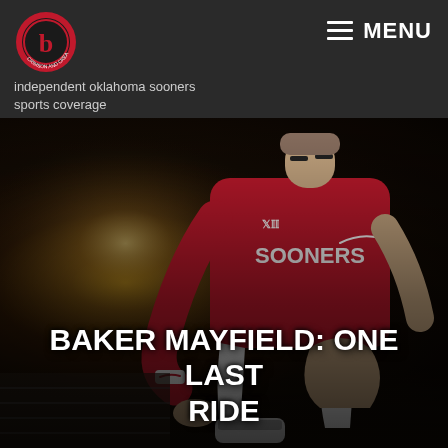independent oklahoma sooners sports coverage
[Figure (photo): Baker Mayfield in Oklahoma Sooners red jersey with Big 12 logo, sitting in a stadium, looking intense with eye black, tying his shoe. Large stadium lights visible in background.]
BAKER MAYFIELD: ONE LAST RIDE